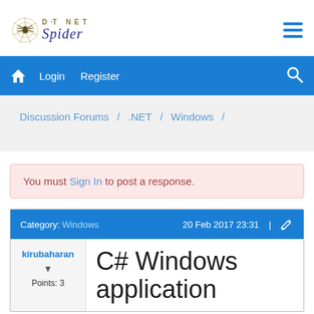DOTNET Spider
Login   Register
Discussion Forums / .NET / Windows /
You must Sign In to post a response.
Category: Windows   20 Feb 2017 23:31
kirubaharan
Points: 3
C# Windows application